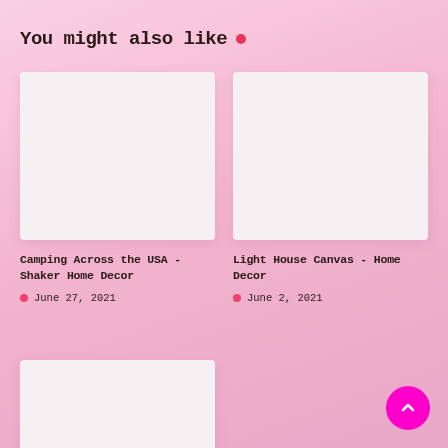You might also like •
[Figure (photo): Blank white image placeholder for Camping Across the USA - Shaker Home Decor article]
Camping Across the USA - Shaker Home Decor
• June 27, 2021
[Figure (photo): Blank white image placeholder for Light House Canvas - Home Decor article]
Light House Canvas - Home Decor
• June 2, 2021
[Figure (photo): Blank white image placeholder for a third article (partially visible at bottom)]